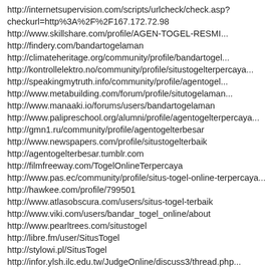http://internetsupervision.com/scripts/urlcheck/check.asp?checkurl=http%3A%2F%2F167.172.72.98
http://www.skillshare.com/profile/AGEN-TOGEL-RESMI...
http://findery.com/bandartogelaman
http://climateheritage.org/community/profile/bandartogel...
http://kontrollelektro.no/community/profile/situstogelterpercaya...
http://speakingmytruth.info/community/profile/agentogel...
http://www.metabuilding.com/forum/profile/situtogelaman...
http://www.manaaki.io/forums/users/bandartogelaman
http://www.palipreschool.org/alumni/profile/agentogelterpercaya...
http://gmn1.ru/community/profile/agentogelterbesar
http://www.newspapers.com/profile/situstogelterbaik
http://agentogelterbesar.tumblr.com
http://filmfreeway.com/TogelOnlineTerpercaya
http://www.pas.ec/community/profile/situs-togel-online-terpercaya...
http://hawkee.com/profile/799501
http://www.atlasobscura.com/users/situs-togel-terbaik
http://www.viki.com/users/bandar_togel_online/about
http://www.pearltrees.com/situstogel
http://libre.fm/user/SitusTogel
http://stylowi.pl/SitusTogel
http://infor.ylsh.ilc.edu.tw/JudgeOnline/discuss3/thread.php...
http://www.wittyprofiles.com/author/situstogelterpercaya...
http://www.stardboardthat.com/stardboards/situstogelterpercaya...